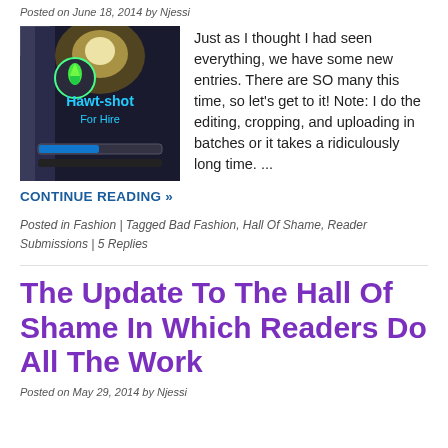Posted on June 18, 2014 by Njessi
[Figure (screenshot): Game screenshot showing 'Hawt-shot For Hire' text with green flame logo and a loading bar at the bottom]
Just as I thought I had seen everything, we have some new entries.  There are SO many this time, so let's get to it! Note: I do the editing, cropping, and uploading in batches or it takes a ridiculously long time. ...
CONTINUE READING »
Posted in Fashion | Tagged Bad Fashion, Hall Of Shame, Reader Submissions | 5 Replies
The Update To The Hall Of Shame In Which Readers Do All The Work
Posted on May 29, 2014 by Njessi